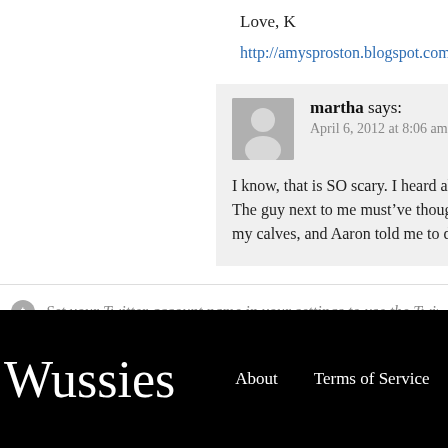Love, K
http://amysproston.blogspot.com/2012/03/public-service-ann...
martha says:
April 6, 2012 at 8:06 am

I know, that is SO scary. I heard about Amy’s story minutes b... The guy next to me must’ve thought something was wrong w... my calves, and Aaron told me to drink a lot so I up to pee like...
Set your Twitter account name in your settings to use the TwitterBar Section...
Wussies   About   Terms of Service